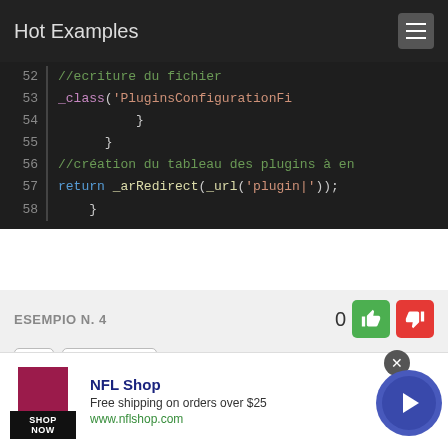Hot Examples
[Figure (screenshot): Code editor showing PHP lines 52-58 with syntax highlighting. Line 52: //ecriture du fichier, Line 53: _class('PluginsConfigurationFi, Line 54: }, Line 55: }, Line 56: //création du tableau des plugins à en, Line 57: return _arRedirect(_url('plugin|'));, Line 58: }]
ESEMPIO N. 4
File: themechooser.zone.php
Progetto: JVS-IS/ICONITO-EcoleNumerique
[Figure (screenshot): Advertisement banner for NFL Shop: Free shipping on orders over $25, www.nflshop.com, SHOP NOW button]